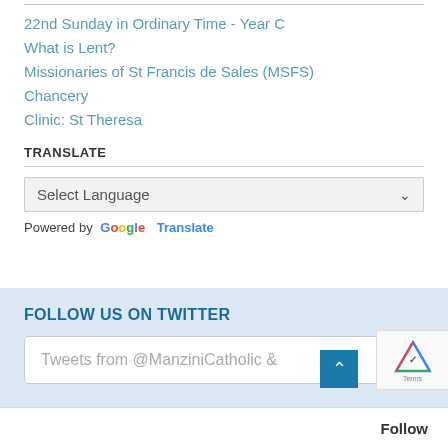22nd Sunday in Ordinary Time - Year C
What is Lent?
Missionaries of St Francis de Sales (MSFS)
Chancery
Clinic: St Theresa
TRANSLATE
Select Language
Powered by Google Translate
FOLLOW US ON TWITTER
Tweets from @ManziniCatholic &